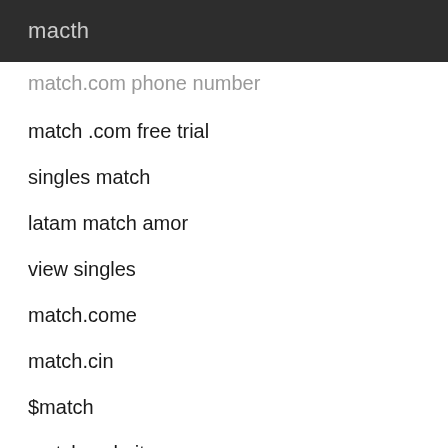macth
match.com phone number
match .com free trial
singles match
latam match amor
view singles
match.come
match.cin
$match
match website
asian singles
three days trial match
...